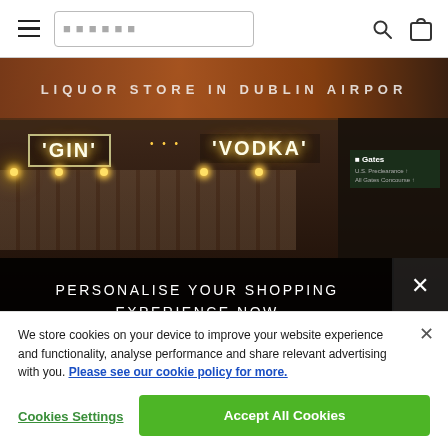Navigation bar with hamburger menu, search box (placeholder dots), search icon, and bag icon
[Figure (photo): Interior of a liquor/duty-free store at Dublin Airport. A large banner reads 'LIQUOR STORE IN DUBLIN AIRPORT'. Illuminated signs for 'GIN' and 'VODKA' hang above shelves stocked with bottles. A dark overlay at the bottom reads 'PERSONALISE YOUR SHOPPING EXPERIENCE NOW' with a close (x) button. Below the overlay begins partial text 'Add your flight date and destination so we can'.]
We store cookies on your device to improve your website experience and functionality, analyse performance and share relevant advertising with you. Please see our cookie policy for more.
Cookies Settings
Accept All Cookies